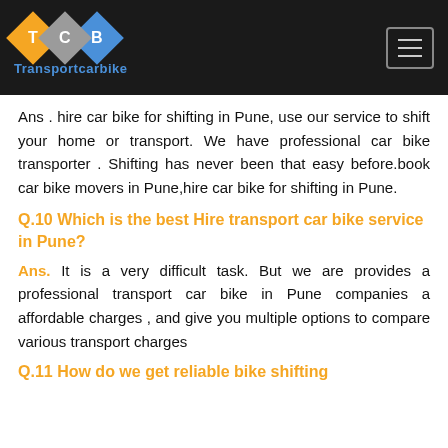TCB Transportcarbike
Ans . hire car bike for shifting in Pune, use our service to shift your home or transport. We have professional car bike transporter . Shifting has never been that easy before.book car bike movers in Pune,hire car bike for shifting in Pune.
Q.10 Which is the best Hire transport car bike service in Pune?
Ans. It is a very difficult task. But we are provides a professional transport car bike in Pune companies a affordable charges , and give you multiple options to compare various transport charges
Q.11 How do we get reliable bike shifting